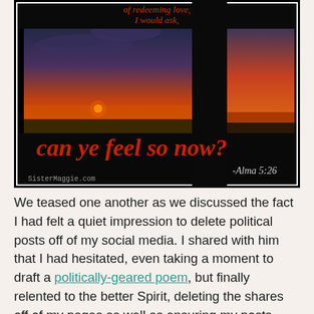[Figure (photo): A dark-framed image showing a sunset through what appears to be a train or vehicle window. Orange and red sky over a flat landscape. Text overlay at top in white says 'of redeeming love, I would ask,' and large red text below reads 'can ye feel so now?' with '-Alma 5:26' in white at bottom right and 'SisterMaggie.com' in small text at bottom left.]
We teased one another as we discussed the fact I had felt a quiet impression to delete political posts off of my social media. I shared with him that I had hesitated, even taking a moment to draft a politically-geared poem, but finally relented to the better Spirit, deleting the shares off of my pages as well as ensuring my posts were...